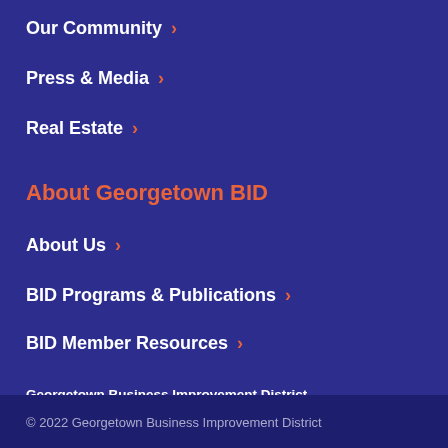Our Community ›
Press & Media ›
Real Estate ›
About Georgetown BID
About Us ›
BID Programs & Publications ›
BID Member Resources ›
Georgetown Business Improvement District
1000 Potomac St. NW, Suite 122
Washington, DC 20007

202.298.9222
info@georgetowndc.com
© 2022 Georgetown Business Improvement District